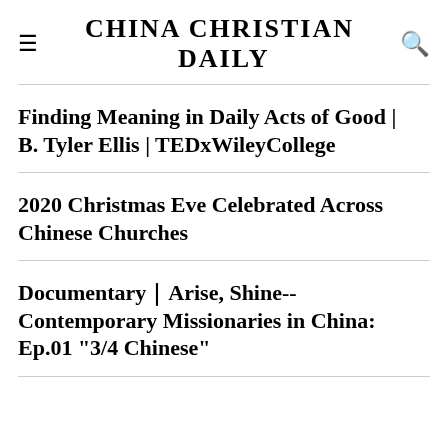CHINA CHRISTIAN DAILY
Finding Meaning in Daily Acts of Good | B. Tyler Ellis | TEDxWileyCollege
2020 Christmas Eve Celebrated Across Chinese Churches
Documentary｜Arise, Shine--Contemporary Missionaries in China: Ep.01 "3/4 Chinese"